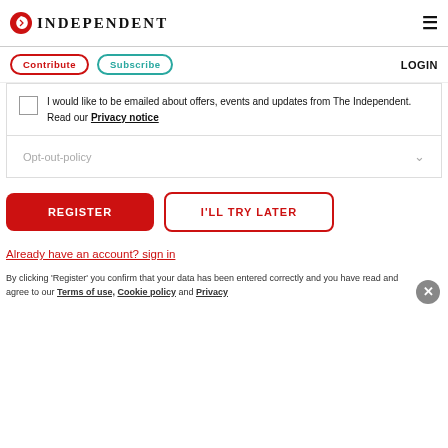INDEPENDENT
Contribute  Subscribe  LOGIN
I would like to be emailed about offers, events and updates from The Independent. Read our Privacy notice
Opt-out-policy
REGISTER
I'LL TRY LATER
Already have an account? sign in
By clicking 'Register' you confirm that your data has been entered correctly and you have read and agree to our Terms of use, Cookie policy and Privacy